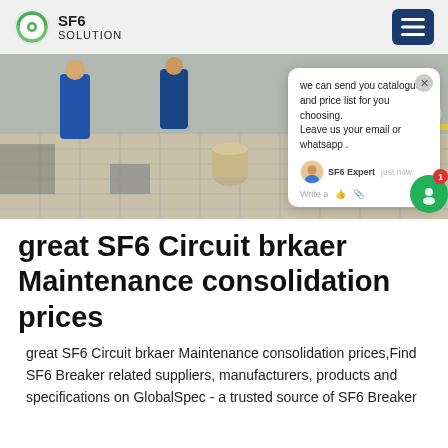SF6 SOLUTION
[Figure (photo): Workers in blue coveralls performing maintenance on industrial SF6 circuit breaker equipment on a tiled floor outdoors.]
great SF6 Circuit brkaer Maintenance consolidation prices
great SF6 Circuit brkaer Maintenance consolidation prices,Find SF6 Breaker related suppliers, manufacturers, products and specifications on GlobalSpec - a trusted source of SF6 Breaker